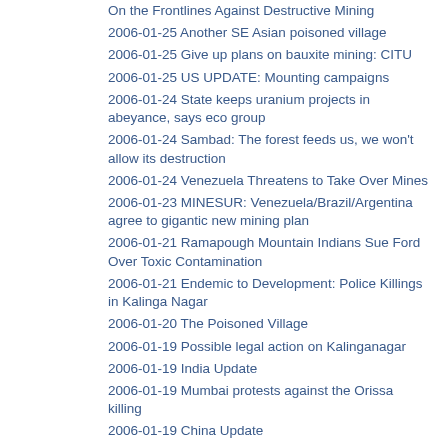On the Frontlines Against Destructive Mining
2006-01-25 Another SE Asian poisoned village
2006-01-25 Give up plans on bauxite mining: CITU
2006-01-25 US UPDATE: Mounting campaigns
2006-01-24 State keeps uranium projects in abeyance, says eco group
2006-01-24 Sambad: The forest feeds us, we won't allow its destruction
2006-01-24 Venezuela Threatens to Take Over Mines
2006-01-23 MINESUR: Venezuela/Brazil/Argentina agree to gigantic new mining plan
2006-01-21 Ramapough Mountain Indians Sue Ford Over Toxic Contamination
2006-01-21 Endemic to Development: Police Killings in Kalinga Nagar
2006-01-20 The Poisoned Village
2006-01-19 Possible legal action on Kalinganagar
2006-01-19 India Update
2006-01-19 Mumbai protests against the Orissa killing
2006-01-19 China Update
2006-01-19 China update
2006-01-19 India Update